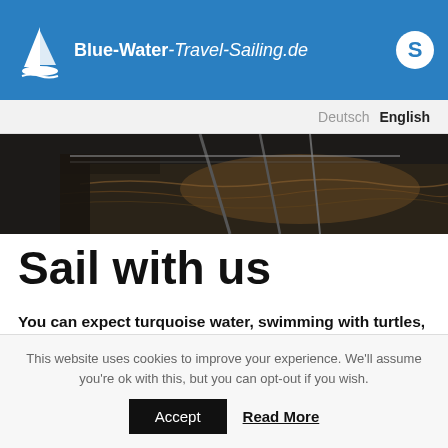Blue-Water-Travel-Sailing.de
Deutsch  English
[Figure (photo): Ocean scene viewed from a sailboat deck, dark moody water with rigging visible]
Sail with us
You can expect turquoise water, swimming with turtles, fresh fish/lobster straight from the sea, hiking in the
This website uses cookies to improve your experience. We'll assume you're ok with this, but you can opt-out if you wish.
Accept  Read More